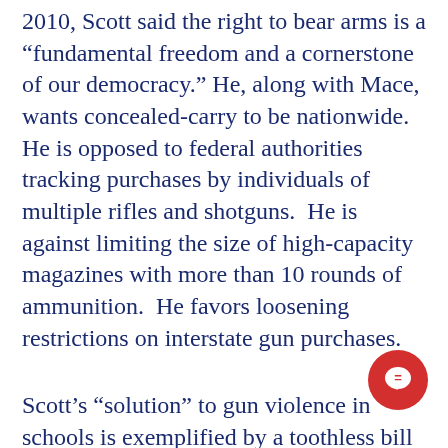2010, Scott said the right to bear arms is a “fundamental freedom and a cornerstone of our democracy.” He, along with Mace, wants concealed-carry to be nationwide. He is opposed to federal authorities tracking purchases by individuals of multiple rifles and shotguns. He is against limiting the size of high-capacity magazines with more than 10 rounds of ammunition. He favors loosening restrictions on interstate gun purchases.
Scott’s “solution” to gun violence in schools is exemplified by a toothless bill he co-sponsored with a dozen other Republican Senators in 2018. It’s called the “School Safety and Mental Health Services Improvement Act.” It would provide funds to turn schools into bunkers with security cameras, alarms and metal detectors. But it would NOT touch the guns themselves. It would also provide funds to hire more school counselors to treat mental